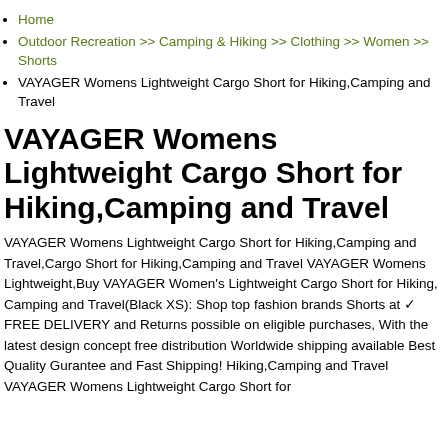Home
Outdoor Recreation >> Camping & Hiking >> Clothing >> Women >> Shorts
VAYAGER Womens Lightweight Cargo Short for Hiking,Camping and Travel
VAYAGER Womens Lightweight Cargo Short for Hiking,Camping and Travel
VAYAGER Womens Lightweight Cargo Short for Hiking,Camping and Travel,Cargo Short for Hiking,Camping and Travel VAYAGER Womens Lightweight,Buy VAYAGER Women's Lightweight Cargo Short for Hiking, Camping and Travel(Black XS): Shop top fashion brands Shorts at ✓ FREE DELIVERY and Returns possible on eligible purchases, With the latest design concept free distribution Worldwide shipping available Best Quality Gurantee and Fast Shipping! Hiking,Camping and Travel VAYAGER Womens Lightweight Cargo Short for